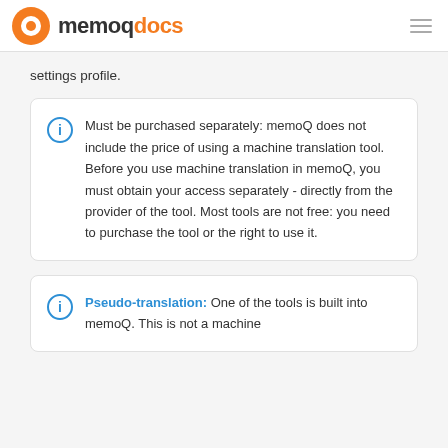memoqdocs
settings profile.
Must be purchased separately: memoQ does not include the price of using a machine translation tool. Before you use machine translation in memoQ, you must obtain your access separately - directly from the provider of the tool. Most tools are not free: you need to purchase the tool or the right to use it.
Pseudo-translation: One of the tools is built into memoQ. This is not a machine